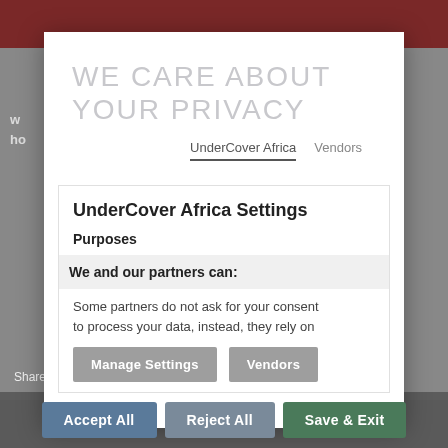WE CARE ABOUT YOUR PRIVACY
UnderCover Africa   Vendors
UnderCover Africa Settings
Purposes
We and our partners can:
Some partners do not ask for your consent to process your data, instead, they rely on
Manage Settings
Vendors
Shares
Accept All
Reject All
Save & Exit